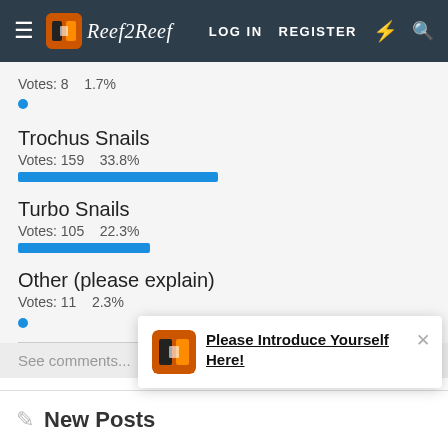Reef2Reef — LOG IN  REGISTER
Votes: 8    1.7%
Trochus Snails
Votes: 159    33.8%
Turbo Snails
Votes: 105    22.3%
Other (please explain)
Votes: 11    2.3%
See comments...
Please Introduce Yourself Here!
New Posts